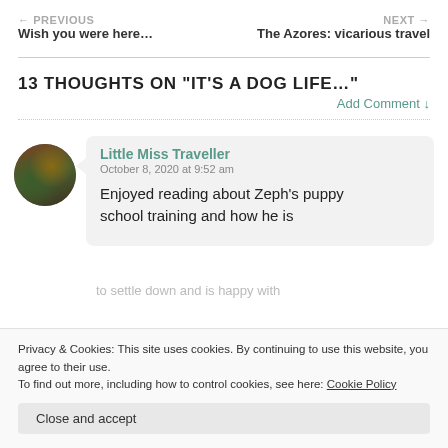← PREVIOUS Wish you were here... | NEXT → The Azores: vicarious travel
13 THOUGHTS ON "IT'S A DOG LIFE…"
Add Comment ↓
Little Miss Traveller
October 8, 2020 at 9:52 am

Enjoyed reading about Zeph's puppy school training and how he is
Privacy & Cookies: This site uses cookies. By continuing to use this website, you agree to their use.
To find out more, including how to control cookies, see here: Cookie Policy
Close and accept